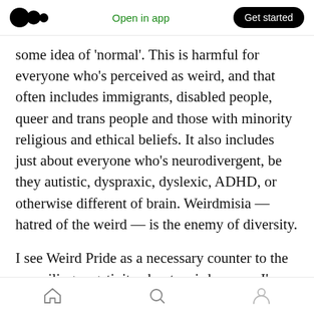Open in app | Get started
some idea of 'normal'. This is harmful for everyone who's perceived as weird, and that often includes immigrants, disabled people, queer and trans people and those with minority religious and ethical beliefs. It also includes just about everyone who's neurodivergent, be they autistic, dyspraxic, dyslexic, ADHD, or otherwise different of brain. Weirdmisia — hatred of the weird — is the enemy of diversity.
I see Weird Pride as a necessary counter to the prevailing negativity about weirdness, so I'm inviting all weirdos and even non-weirdos* to
Home | Search | Profile